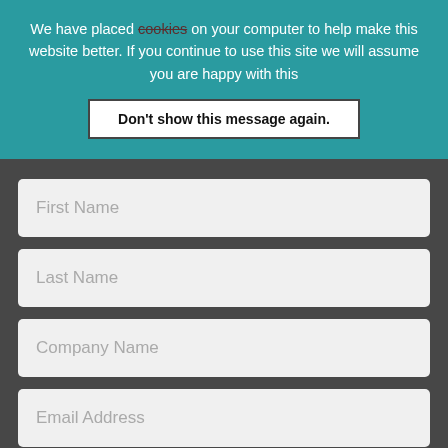We have placed cookies on your computer to help make this website better. If you continue to use this site we will assume you are happy with this
Don't show this message again.
First Name
Last Name
Company Name
Email Address
Phone Number